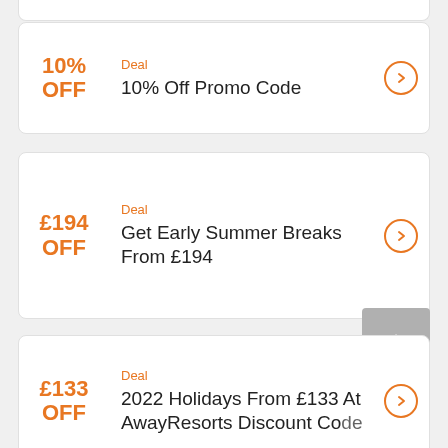[Figure (other): Top portion of a deal card (remnant from above the viewport)]
Deal
10% Off Promo Code
10% OFF
Deal
Get Early Summer Breaks From £194
£194 OFF
Deal
2022 Holidays From £133 At AwayResorts Discount Code
£133 OFF